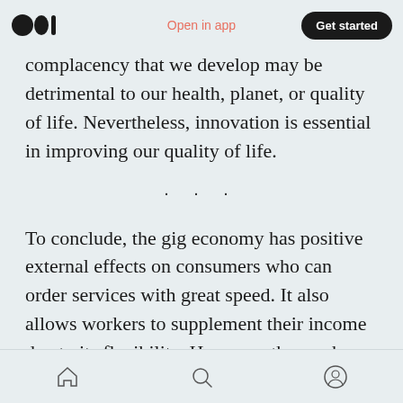Open in app | Get started
complacency that we develop may be detrimental to our health, planet, or quality of life. Nevertheless, innovation is essential in improving our quality of life.
· · ·
To conclude, the gig economy has positive external effects on consumers who can order services with great speed. It also allows workers to supplement their income due to its flexibility. However, those who rely on the wage from the
Home | Search | Profile